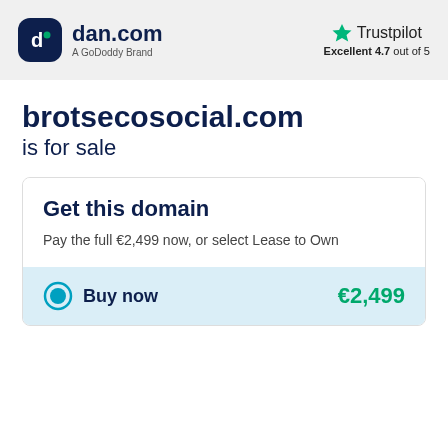[Figure (logo): dan.com logo with dark navy rounded square icon and text 'dan.com' with 'A GoDoddy Brand' subtitle]
[Figure (logo): Trustpilot logo with green star and text 'Trustpilot', rating 'Excellent 4.7 out of 5']
brotsecosocial.com
is for sale
Get this domain
Pay the full €2,499 now, or select Lease to Own
Buy now
€2,499